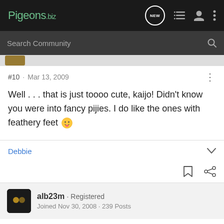Pigeons.biz
Search Community
#10 · Mar 13, 2009
Well . . . that is just toooo cute, kaijo! Didn't know you were into fancy pijies. I do like the ones with feathery feet 😛
Debbie
alb23m · Registered
Joined Nov 30, 2008 · 239 Posts